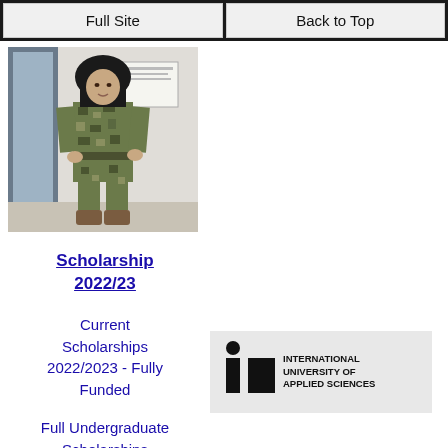Full Site | Back to Top
[Figure (photo): Person wearing military camouflage uniform standing in a room]
Scholarship 2022/23
Current Scholarships 2022/2023 - Fully Funded
Full Undergraduate Scholarships 2022/2023
[Figure (logo): International University of Applied Sciences (IU) logo]